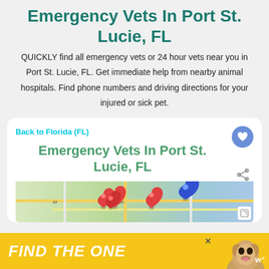Emergency Vets In Port St. Lucie, FL
QUICKLY find all emergency vets or 24 hour vets near you in Port St. Lucie, FL. Get immediate help from nearby animal hospitals. Find phone numbers and driving directions for your injured or sick pet.
Back to Florida (FL)
Emergency Vets In Port St. Lucie, FL
[Figure (map): Map preview showing Port St. Lucie FL area with red location pin markers and a blue pin marker]
[Figure (advertisement): Yellow advertisement banner reading FIND THE ONE with a dog photo]